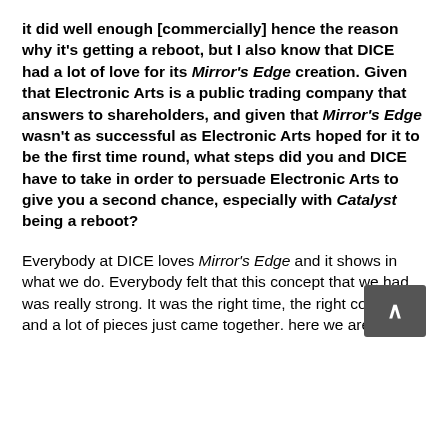it did well enough [commercially] hence the reason why it's getting a reboot, but I also know that DICE had a lot of love for its Mirror's Edge creation. Given that Electronic Arts is a public trading company that answers to shareholders, and given that Mirror's Edge wasn't as successful as Electronic Arts hoped for it to be the first time round, what steps did you and DICE have to take in order to persuade Electronic Arts to give you a second chance, especially with Catalyst being a reboot?
Everybody at DICE loves Mirror's Edge and it shows in what we do. Everybody felt that this concept that we had was really strong. It was the right time, the right concept, and a lot of pieces just came together. So here we are.